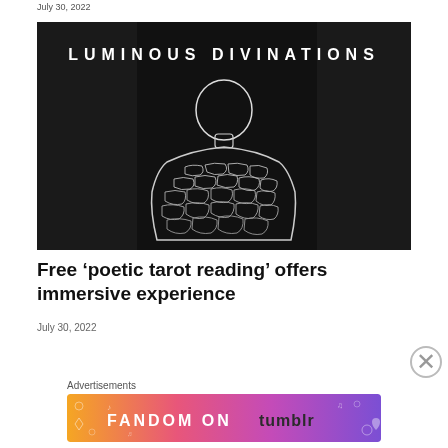July 30, 2022
[Figure (illustration): Black and white illustration titled 'LUMINOUS DIVINATIONS' showing the back of a figure with a bald head and a textured, stone-like or scale-like back, rendered in an ink-sketch style against a dark background.]
Free ‘poetic tarot reading’ offers immersive experience
July 30, 2022
[Figure (screenshot): Advertisement banner for 'FANDOM ON tumblr' with colorful orange, pink, and purple gradient background with white decorative elements and icons.]